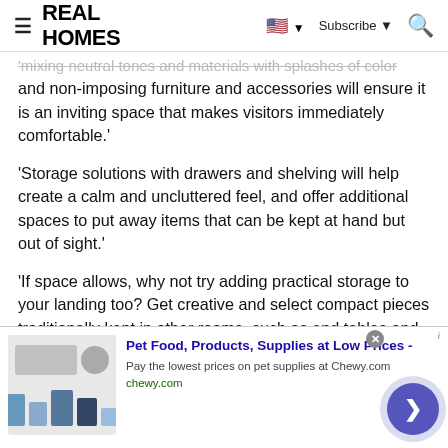REAL HOMES
'mixing neutral tones and materials with splashes of color and non-imposing furniture and accessories will ensure it is an inviting space that makes visitors immediately comfortable.'
'Storage solutions with drawers and shelving will help create a calm and uncluttered feel, and offer additional spaces to put away items that can be kept at hand but out of sight.'
'If space allows, why not try adding practical storage to your landing too? Get creative and select compact pieces traditionally kept in other rooms, such as end tables and sideboards, so you don't compromise style and design for
[Figure (screenshot): Advertisement banner for Chewy.com: Pet Food, Products, Supplies at Low Prices. Pay the lowest prices on pet supplies at Chewy.com. chewy.com]